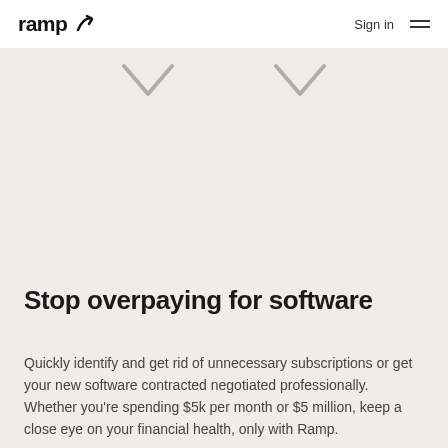ramp  Sign in
Stop overpaying for software
Quickly identify and get rid of unnecessary subscriptions or get your new software contracted negotiated professionally. Whether you're spending $5k per month or $5 million, keep a close eye on your financial health, only with Ramp.